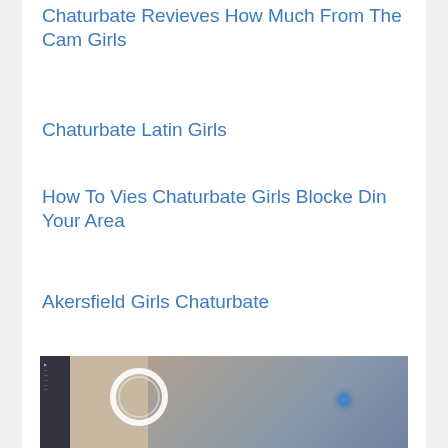Chaturbate Revieves How Much From The Cam Girls
Chaturbate Latin Girls
How To Vies Chaturbate Girls Blocke Din Your Area
Akersfield Girls Chaturbate
[Figure (photo): A person in a room with a ring light on a stand and a dark sidebar UI panel on the left side of the image.]